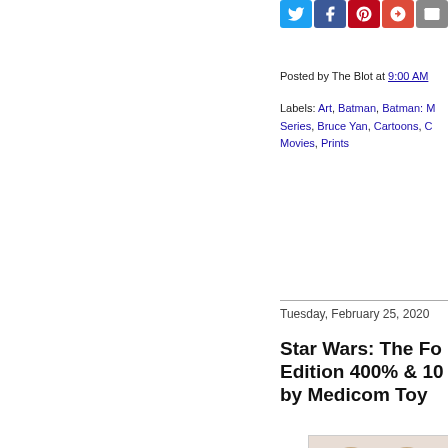[Figure (other): Social sharing buttons: Twitter, Facebook, Pinterest, Google+, Email]
Posted by The Blot at 9:00 AM
Labels: Art, Batman, Batman: M Series, Bruce Yan, Cartoons, C Movies, Prints
Tuesday, February 25, 2020
Star Wars: The Fo Edition 400% & 10 by Medicom Toy
[Figure (photo): Medicom Toy Bearbrick figure styled as Kylo Ren from Star Wars, showing black helmet with white stripes and tan/bronze body armor]